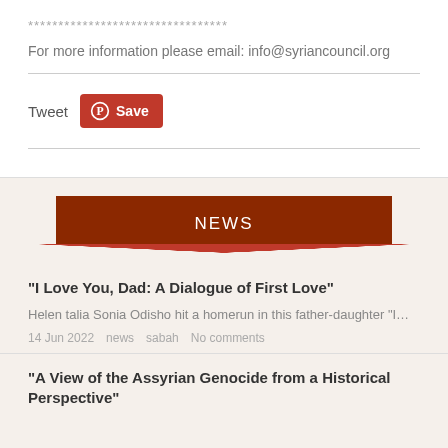*********************************
For more information please email: info@syriancouncil.org
Tweet  Save
NEWS
"I Love You, Dad: A Dialogue of First Love"
Helen talia Sonia Odisho hit a homerun in this father-daughter "I…
14 Jun 2022   news   sabah   No comments
"A View of the Assyrian Genocide from a Historical Perspective"